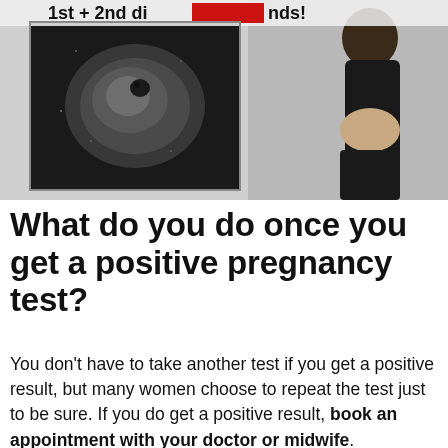[Figure (photo): A composite image showing a YouTube-style thumbnail with text '1st + 2nd di[redacted]nds!' at the top, an ultrasound scan image in the center-left, and a woman in a black outfit showing her pregnant belly on the right.]
What do you do once you get a positive pregnancy test?
You don't have to take another test if you get a positive result, but many women choose to repeat the test just to be sure. If you do get a positive result, book an appointment with your doctor or midwife.
How many pregnancy tests should I take after a